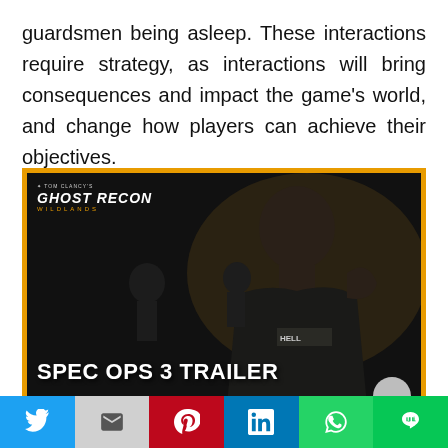guardsmen being asleep. These interactions require strategy, as interactions will bring consequences and impact the game's world, and change how players can achieve their objectives.
[Figure (screenshot): Tom Clancy's Ghost Recon Wildlands — Spec Ops 3 Trailer screenshot showing a bald man in military uniform in a dark scene, with the text 'SPEC OPS 3 TRAILER' overlaid at the bottom.]
Social share buttons: Twitter, Gmail, Pinterest, LinkedIn, WhatsApp, LINE